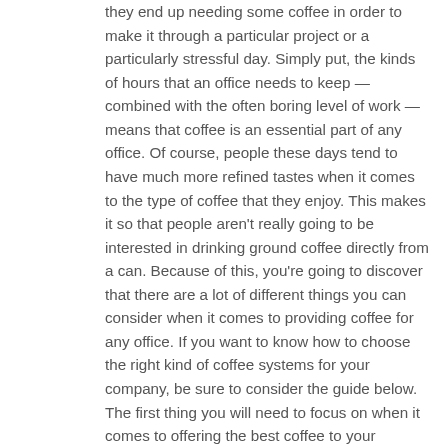they end up needing some coffee in order to make it through a particular project or a particularly stressful day. Simply put, the kinds of hours that an office needs to keep — combined with the often boring level of work — means that coffee is an essential part of any office. Of course, people these days tend to have much more refined tastes when it comes to the type of coffee that they enjoy. This makes it so that people aren't really going to be interested in drinking ground coffee directly from a can. Because of this, you're going to discover that there are a lot of different things you can consider when it comes to providing coffee for any office. If you want to know how to choose the right kind of coffee systems for your company, be sure to consider the guide below. The first thing you will need to focus on when it comes to offering the best coffee to your employees will be finding better beans to work with. The coffee bean is the core of any good cup of coffee, and it's important that you have a good sense of which